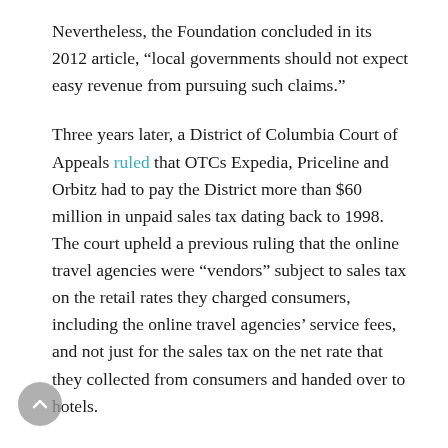Nevertheless, the Foundation concluded in its 2012 article, “local governments should not expect easy revenue from pursuing such claims.”
Three years later, a District of Columbia Court of Appeals ruled that OTCs Expedia, Priceline and Orbitz had to pay the District more than $60 million in unpaid sales tax dating back to 1998. The court upheld a previous ruling that the online travel agencies were “vendors” subject to sales tax on the retail rates they charged consumers, including the online travel agencies’ service fees, and not just for the sales tax on the net rate that they collected from consumers and handed over to hotels.